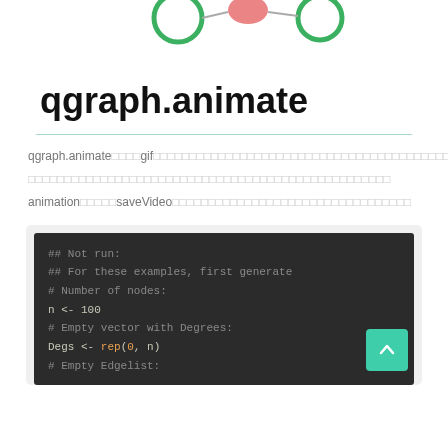[Figure (illustration): Partial network graph diagram showing green and pink/red circular nodes connected by lines, visible at top of page]
qgraph.animate
qgraph.animate　　　gif　　　　　　　　　　　　　　　　　　　　　　　　　　　　　　　　　　　　　　　　　　　　　　　　　　　　　　　　　　　　　　　　　　　　animation　　　　　saveVideo
[Figure (screenshot): Dark-themed code block showing R code comments and variable assignments including '## Not run:', '## For these examples, first generate', '# Number of nodes:', 'n <- 100', '# Empty vector with Degrees:', 'Degs <- rep(0, n)', '# Empty Edgelist:']